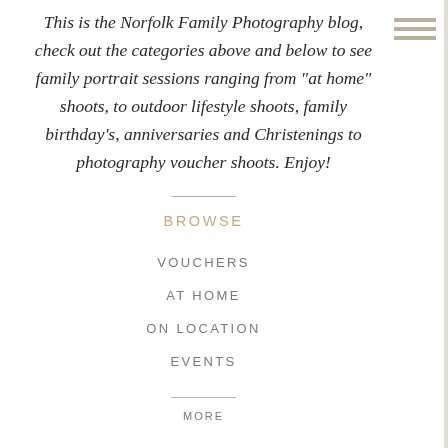This is the Norfolk Family Photography blog, check out the categories above and below to see family portrait sessions ranging from "at home" shoots, to outdoor lifestyle shoots, family birthday's, anniversaries and Christenings to photography voucher shoots. Enjoy!
BROWSE
VOUCHERS
AT HOME
ON LOCATION
EVENTS